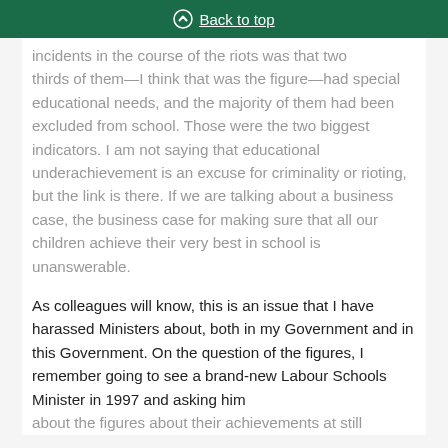Back to top
incidents in the course of the riots was that two thirds of them—I think that was the figure—had special educational needs, and the majority of them had been excluded from school. Those were the two biggest indicators. I am not saying that educational underachievement is an excuse for criminality or rioting, but the link is there. If we are talking about a business case, the business case for making sure that all our children achieve their very best in school is unanswerable.
As colleagues will know, this is an issue that I have harassed Ministers about, both in my Government and in this Government. On the question of the figures, I remember going to see a brand-new Labour Schools Minister in 1997 and asking him about the figures about their achievements at still